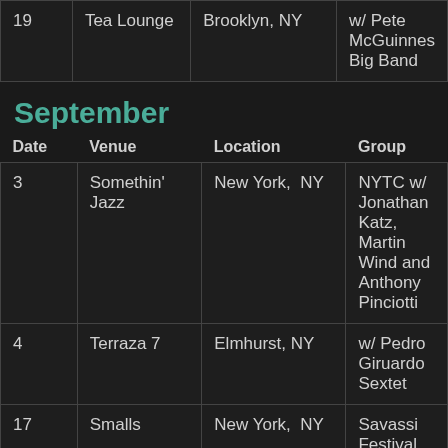| Date | Venue | Location | Group |
| --- | --- | --- | --- |
| 19 | Tea Lounge | Brooklyn, NY | w/ Pete McGuinnes Big Band |
September
| Date | Venue | Location | Group |
| --- | --- | --- | --- |
| 3 | Somethin' Jazz | New York, NY | NYTC w/ Jonathan Katz, Martin Wind and Anthony Pinciotti |
| 4 | Terraza 7 | Elmhurst, NY | w/ Pedro Giruardo Sextet |
| 17 | Smalls | New York, NY | Savassi Festival NY |
| 22 | University of | College Park, | w/ Maria Schneider Orchestra |